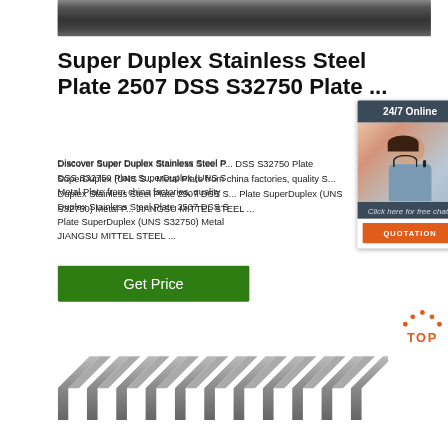[Figure (photo): Dark metallic steel plate surface, top banner image]
Super Duplex Stainless Steel Plate 2507 DSS S32750 Plate ...
[Figure (photo): 24/7 online chat widget with customer service representative photo, 'Click here for free chat!' text, and orange QUOTATION button]
Discover Super Duplex Stainless Steel Plate 2507 DSS S32750 Plate SuperDuplex (UNS S32750) Metal Plate from china factories, quality Super Duplex Stainless Steel Plate 2507 DSS S32750 Plate SuperDuplex (UNS S32750) Metal Plate suppliers from JIANGSU MITTEL STEEL ...
[Figure (other): Green 'Get Price' button]
[Figure (other): Orange TOP navigation arrow icon with 'TOP' text label]
[Figure (photo): Stainless steel angle bar/section shapes stacked, bottom image]